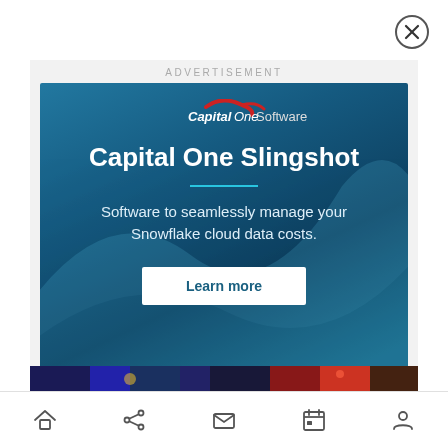[Figure (screenshot): Close button (X in circle) in top-right corner]
ADVERTISEMENT
[Figure (illustration): Capital One Software - Capital One Slingshot advertisement banner. Blue gradient background with Capital One Software logo (red swoosh), large white text 'Capital One Slingshot', teal divider line, body text 'Software to seamlessly manage your Snowflake cloud data costs.', and a white 'Learn more' button.]
[Figure (photo): Partial image strip at bottom showing dark concert or event scene with colorful lights]
[Figure (screenshot): Mobile navigation bar with home, share, mail, calendar, and profile icons]